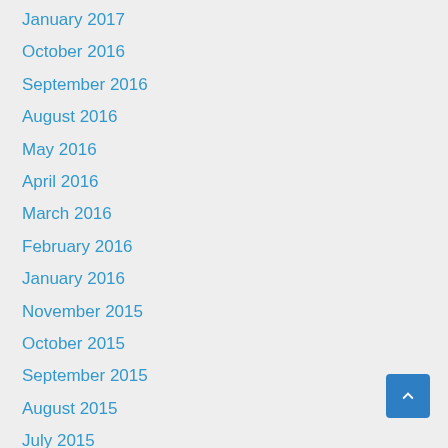January 2017
October 2016
September 2016
August 2016
May 2016
April 2016
March 2016
February 2016
January 2016
November 2015
October 2015
September 2015
August 2015
July 2015
May 2015